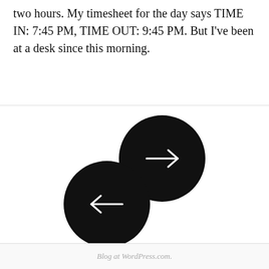two hours. My timesheet for the day says TIME IN: 7:45 PM, TIME OUT: 9:45 PM. But I've been at a desk since this morning.
[Figure (other): Two black circular navigation buttons with white arrows: one pointing right (next) and one pointing left (previous), arranged diagonally overlapping slightly.]
Blog at WordPress.com.